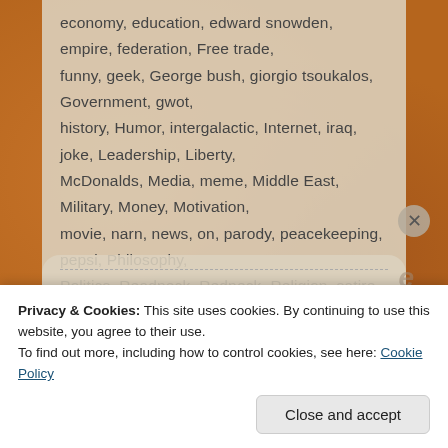economy, education, edward snowden, empire, federation, Free trade, funny, geek, George bush, giorgio tsoukalos, Government, gwot, history, Humor, intergalactic, Internet, iraq, joke, Leadership, Liberty, McDonalds, Media, meme, Middle East, Military, Money, Motivation, movie, narn, news, on, parody, peacekeeping, pepsi, Philosophy, Politics, Readneck, Redneck, Religion, satire, Science, science fiction, star trek, starfleet, terrorism, umpire, united nations, united states, weirdo, World
Privacy & Cookies: This site uses cookies. By continuing to use this website, you agree to their use. To find out more, including how to control cookies, see here: Cookie Policy
Close and accept